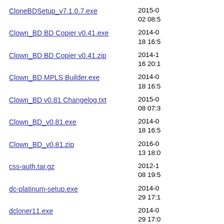CloneBDSetup_v7.1.0.7.exe  2015-0... 02 08:5...
Clown_BD BD Copier v0.41.exe  2014-0... 18 16:5...
Clown_BD BD Copier v0.41.zip  2014-1... 16 20:1...
Clown_BD MPLS Builder.exe  2014-0... 18 16:5...
Clown_BD v0.81 Changelog.txt  2015-0... 08 07:3...
Clown_BD_v0.81.exe  2014-0... 18 16:5...
Clown_BD_v0.81.zip  2016-0... 13 18:0...
css-auth.tar.gz  2012-1... 08 19:5...
dc-platinum-setup.exe  2014-0... 29 17:1...
dcloner11.exe  2014-0... 29 17:0...
decss-as-speech.zip  2012-1... 08 19:5...